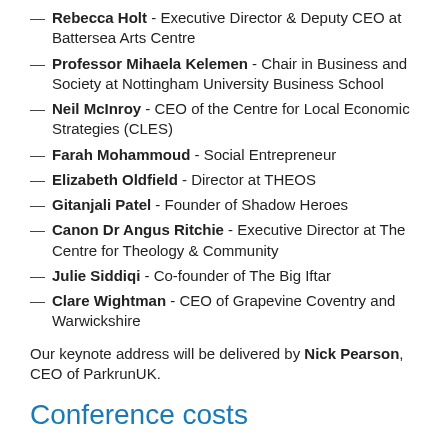Rebecca Holt - Executive Director & Deputy CEO at Battersea Arts Centre
Professor Mihaela Kelemen - Chair in Business and Society at Nottingham University Business School
Neil McInroy - CEO of the Centre for Local Economic Strategies (CLES)
Farah Mohammoud - Social Entrepreneur
Elizabeth Oldfield - Director at THEOS
Gitanjali Patel - Founder of Shadow Heroes
Canon Dr Angus Ritchie - Executive Director at The Centre for Theology & Community
Julie Siddiqi - Co-founder of The Big Iftar
Clare Wightman - CEO of Grapevine Coventry and Warwickshire
Our keynote address will be delivered by Nick Pearson, CEO of ParkrunUK.
Conference costs